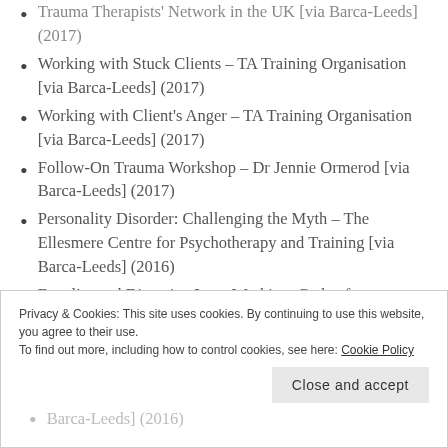Working with Trauma and Nightmares – Complex Trauma Therapists' Network in the UK [via Barca-Leeds] (2017)
Working with Stuck Clients – TA Training Organisation [via Barca-Leeds] (2017)
Working with Client's Anger – TA Training Organisation [via Barca-Leeds] (2017)
Follow-On Trauma Workshop – Dr Jennie Ormerod [via Barca-Leeds] (2017)
Personality Disorder: Challenging the Myth – The Ellesmere Centre for Psychotherapy and Training [via Barca-Leeds] (2016)
Equality and Diversity, Lone Working, Code of …
Privacy & Cookies: This site uses cookies. By continuing to use this website, you agree to their use. To find out more, including how to control cookies, see here: Cookie Policy
Close and accept
Barca-Leeds] (2016)